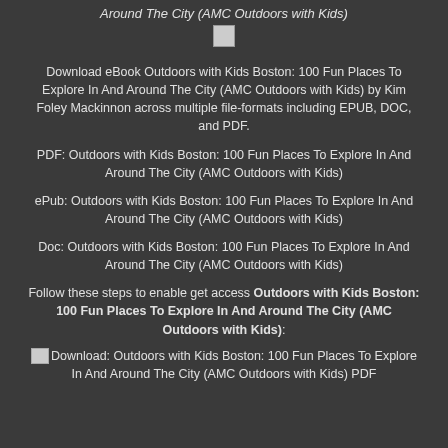Around The City (AMC Outdoors with Kids)
[Figure (other): Broken image placeholder icon]
Download eBook Outdoors with Kids Boston: 100 Fun Places To Explore In And Around The City (AMC Outdoors with Kids) by Kim Foley Mackinnon across multiple file-formats including EPUB, DOC, and PDF.
PDF: Outdoors with Kids Boston: 100 Fun Places To Explore In And Around The City (AMC Outdoors with Kids)
ePub: Outdoors with Kids Boston: 100 Fun Places To Explore In And Around The City (AMC Outdoors with Kids)
Doc: Outdoors with Kids Boston: 100 Fun Places To Explore In And Around The City (AMC Outdoors with Kids)
Follow these steps to enable get access Outdoors with Kids Boston: 100 Fun Places To Explore In And Around The City (AMC Outdoors with Kids):
[Figure (other): Broken image with alt text: Download: Outdoors with Kids Boston: 100 Fun Places To Explore In And Around The City (AMC Outdoors with Kids) PDF]